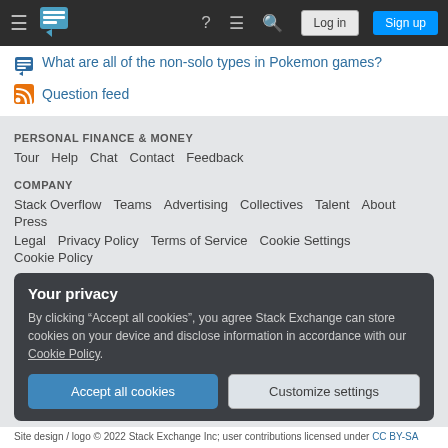Stack Exchange navigation bar with hamburger menu, logo, help, chat, search icons, Log in and Sign up buttons
What are all of the non-solo types in Pokemon games?
Question feed
PERSONAL FINANCE & MONEY
Tour  Help  Chat  Contact  Feedback
COMPANY
Stack Overflow  Teams  Advertising  Collectives  Talent  About  Press
Legal  Privacy Policy  Terms of Service  Cookie Settings  Cookie Policy
Your privacy
By clicking "Accept all cookies", you agree Stack Exchange can store cookies on your device and disclose information in accordance with our Cookie Policy.
Accept all cookies  Customize settings
Site design / logo © 2022 Stack Exchange Inc; user contributions licensed under CC BY-SA